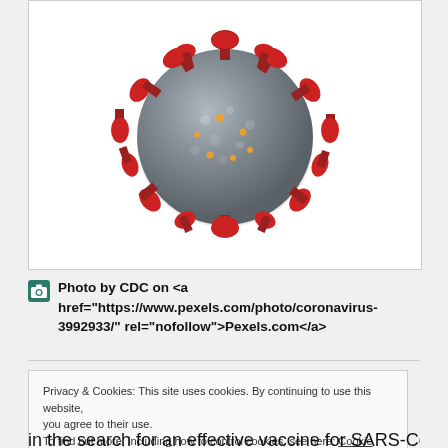[Figure (photo): 3D illustration of a coronavirus particle with grey spherical body covered in red spike proteins and small orange dots, on white background]
Photo by CDC on <a href="https://www.pexels.com/photo/coronavirus-3992933/" rel="nofollow">Pexels.com</a>
Privacy & Cookies: This site uses cookies. By continuing to use this website, you agree to their use.
To find out more, including how to control cookies, see here: Cookie Policy
in the search for an effective vaccine for SARS-CoV-2